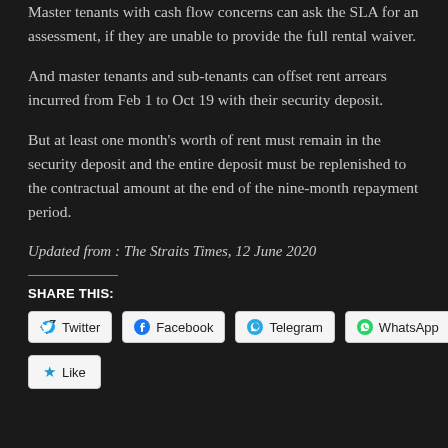Master tenants with cash flow concerns can ask the SLA for an assessment, if they are unable to provide the full rental waiver.
And master tenants and sub-tenants can offset rent arrears incurred from Feb 1 to Oct 19 with their security deposit.
But at least one month's worth of rent must remain in the security deposit and the entire deposit must be replenished to the contractual amount at the end of the nine-month repayment period.
Updated from : The Straits Times, 12 June 2020
SHARE THIS:
Twitter | Facebook | Telegram | WhatsApp
Like